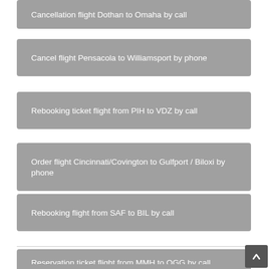Cancellation flight Dothan to Omaha by call
Cancel flight Pensacola to Williamsport by phone
Rebooking ticket flight from PIH to VDZ by call
Order flight Cincinnati/Covington to Gulfport / Biloxi by phone
Rebooking flight from SAF to BIL by call
Reservation ticket flight from MMH to OGG by call
Book flight ticket Reno to Lebanon by phone